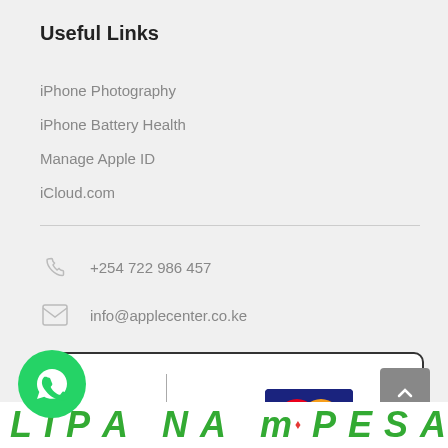Useful Links
iPhone Photography
iPhone Battery Health
Manage Apple ID
iCloud.com
+254 722 986 457
info@applecenter.co.ke
[Figure (infographic): Pay securely online with VISA and MasterCard logos inside a rounded rectangle box]
[Figure (logo): WhatsApp green circular button at bottom left]
LIPA NA MPESA